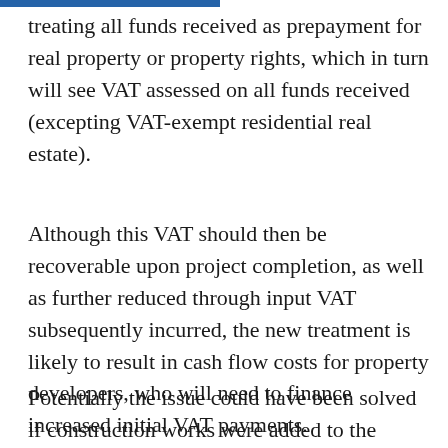treating all funds received as prepayment for real property or property rights, which in turn will see VAT assessed on all funds received (excepting VAT-exempt residential real estate).
Although this VAT should then be recoverable upon project completion, as well as further reduced through input VAT subsequently incurred, the new treatment is likely to result in cash flow costs for property developers, who will need to finance increased initial VAT payments.
Potentially the issue could have been solved if construction works were added to the government's special list of VAT advance payment exemptions